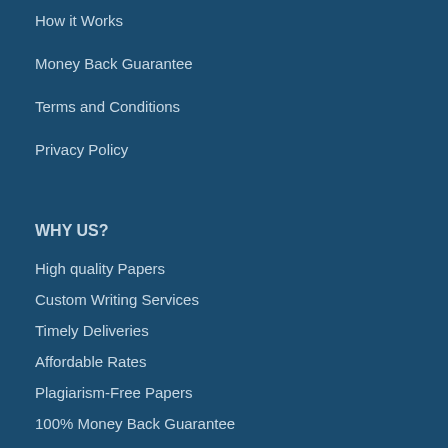How it Works
Money Back Guarantee
Terms and Conditions
Privacy Policy
WHY US?
High quality Papers
Custom Writing Services
Timely Deliveries
Affordable Rates
Plagiarism-Free Papers
100% Money Back Guarantee
Experienced Writers
Flexible Pricing